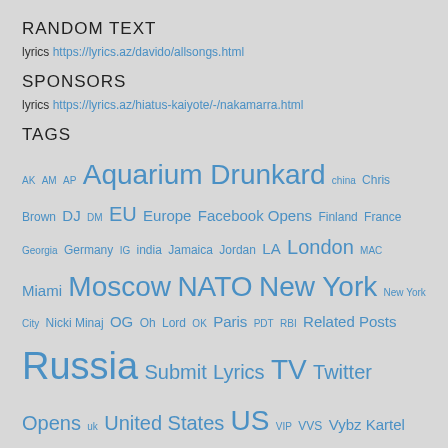RANDOM TEXT
lyrics https://lyrics.az/davido/allsongs.html
SPONSORS
lyrics https://lyrics.az/hiatus-kaiyote/-/nakamarra.html
TAGS
AK AM AP Aquarium Drunkard china Chris Brown DJ DM EU Europe Facebook Opens Finland France Georgia Germany IG india Jamaica Jordan LA London MAC Miami Moscow NATO New York New York City Nicki Minaj OG Oh Lord OK Paris PDT RBI Related Posts Russia Submit Lyrics TV Twitter Opens uk United States US VIP VVS Vybz Kartel